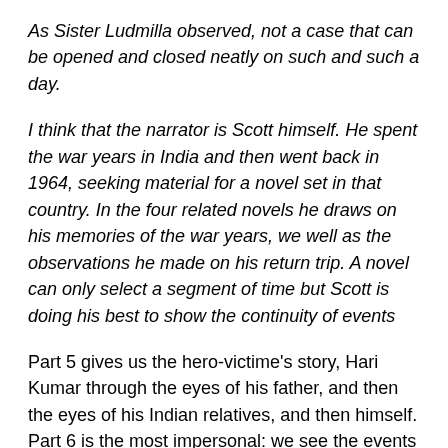As Sister Ludmilla observed, not a case that can be opened and closed neatly on such and such a day.
I think that the narrator is Scott himself. He spent the war years in India and then went back in 1964, seeking material for a novel set in that country. In the four related novels he draws on his memories of the war years, we well as the observations he made on his return trip. A novel can only select a segment of time but Scott is doing his best to show the continuity of events
Part 5 gives us the hero-victime's story, Hari Kumar through the eyes of his father, and then the eyes of his Indian relatives, and then himself. Part 6 is the most impersonal: we see the events of the central week of the novel through the point of view of a dense deeply narrowly prejudiced English military man, Colonel Reed, and then a